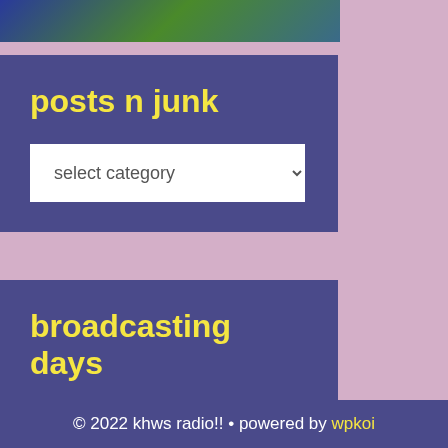[Figure (photo): Partial image at top of page showing colorful illustration]
posts n junk
select category
broadcasting days
monday sunday thursday tuesday wednesday
© 2022 khws radio!! • powered by wpkoi